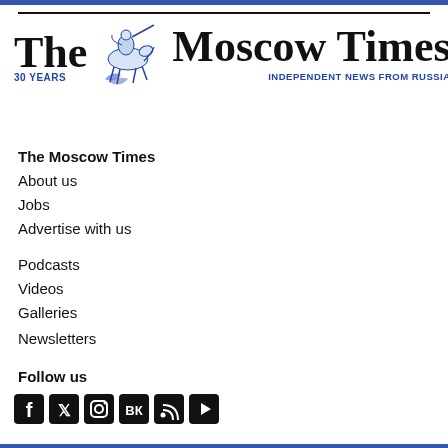[Figure (logo): The Moscow Times logo with St. George and Dragon emblem, '30 YEARS' subtitle, and 'INDEPENDENT NEWS FROM RUSSIA' tagline in blue]
The Moscow Times
About us
Jobs
Advertise with us
Podcasts
Videos
Galleries
Newsletters
Follow us
[Figure (illustration): Social media icons: Facebook, Twitter, Instagram, VK, RSS feed, YouTube]